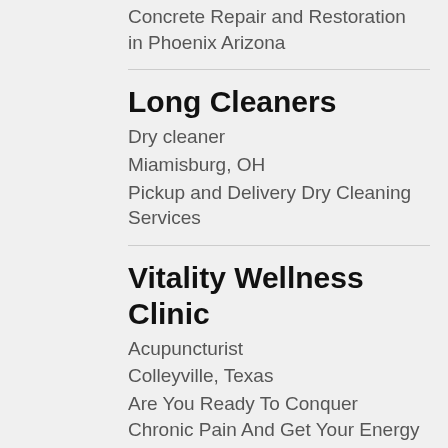Concrete Repair and Restoration in Phoenix Arizona
Long Cleaners
Dry cleaner
Miamisburg, OH
Pickup and Delivery Dry Cleaning Services
Vitality Wellness Clinic
Acupuncturist
Colleyville, Texas
Are You Ready To Conquer Chronic Pain And Get Your Energy Back? Try acupuncture in Colleyville, Texas